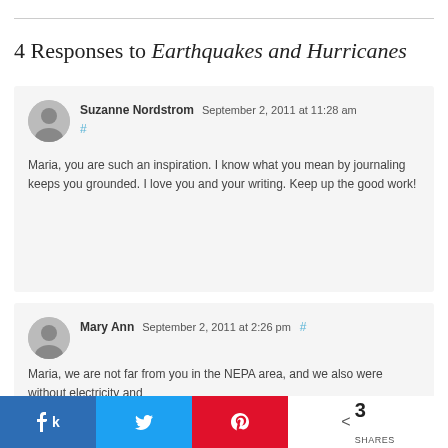4 Responses to Earthquakes and Hurricanes
Suzanne Nordstrom September 2, 2011 at 11:28 am # Maria, you are such an inspiration. I know what you mean by journaling keeps you grounded. I love you and your writing. Keep up the good work!
Mary Ann September 2, 2011 at 2:26 pm # Maria, we are not far from you in the NEPA area, and we also were without electricity and